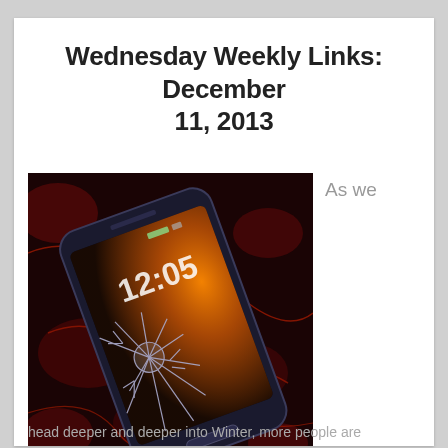Wednesday Weekly Links: December 11, 2013
[Figure (photo): A Samsung smartphone with a cracked screen lying on a dark red textured background, with dramatic orange glow on the right side of the screen.]
As we
The phone's specs are amazing, but it can also catch houses on fire.
head deeper and deeper into Winter, more people are